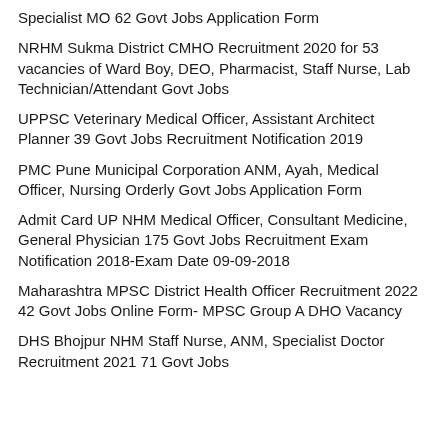Specialist MO 62 Govt Jobs Application Form
NRHM Sukma District CMHO Recruitment 2020 for 53 vacancies of Ward Boy, DEO, Pharmacist, Staff Nurse, Lab Technician/Attendant Govt Jobs
UPPSC Veterinary Medical Officer, Assistant Architect Planner 39 Govt Jobs Recruitment Notification 2019
PMC Pune Municipal Corporation ANM, Ayah, Medical Officer, Nursing Orderly Govt Jobs Application Form
Admit Card UP NHM Medical Officer, Consultant Medicine, General Physician 175 Govt Jobs Recruitment Exam Notification 2018-Exam Date 09-09-2018
Maharashtra MPSC District Health Officer Recruitment 2022 42 Govt Jobs Online Form- MPSC Group A DHO Vacancy
DHS Bhojpur NHM Staff Nurse, ANM, Specialist Doctor Recruitment 2021 71 Govt Jobs